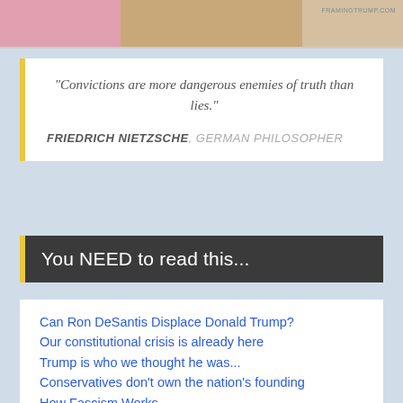[Figure (photo): Partial banner image strip at top of page with colorful photos]
“Convictions are more dangerous enemies of truth than lies.”

FRIEDRICH NIETZSCHE, GERMAN PHILOSOPHER
You NEED to read this...
Can Ron DeSantis Displace Donald Trump?
Our constitutional crisis is already here
Trump is who we thought he was...
Conservatives don’t own the nation’s founding
How Fascism Works
What the GOP sold its soul for.